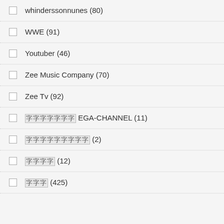whinderssonnunes (80)
WWE (91)
Youtuber (46)
Zee Music Company (70)
Zee Tv (92)
[non-Latin] EGA-CHANNEL (11)
[non-Latin] (2)
[non-Latin] (12)
[non-Latin] (425)